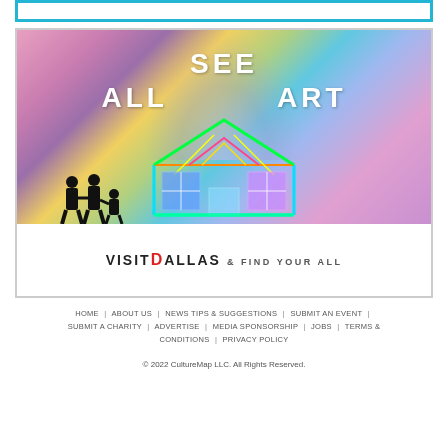[Figure (advertisement): Visit Dallas advertisement showing a colorful illuminated house sculpture in a museum gallery with the text SEE ALL ART and VISITDALLAS & FIND YOUR ALL]
HOME | ABOUT US | NEWS TIPS & SUGGESTIONS | SUBMIT AN EVENT | SUBMIT A CHARITY | ADVERTISE | MEDIA SPONSORSHIP | JOBS | TERMS & CONDITIONS | PRIVACY POLICY
© 2022 CultureMap LLC. All Rights Reserved.